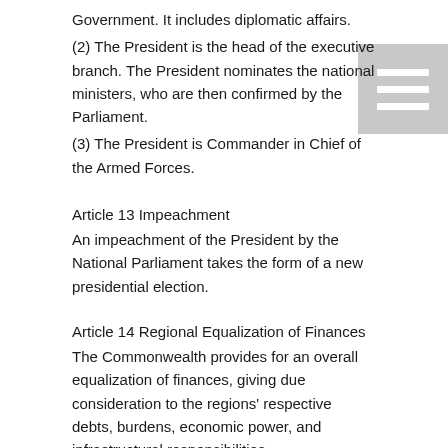Government. It includes diplomatic affairs.
(2) The President is the head of the executive branch. The President nominates the national ministers, who are then confirmed by the Parliament.
(3) The President is Commander in Chief of the Armed Forces.
Article 13 Impeachment
An impeachment of the President by the National Parliament takes the form of a new presidential election.
Article 14 Regional Equalization of Finances
The Commonwealth provides for an overall equalization of finances, giving due consideration to the regions' respective debts, burdens, economic power, and infrastructural responsibilities.
Article 15 National Parliament
(1) The legislative power is vested in the National Parliament.
(2) The National Parliament consists of 8 members. Members of the National Parliament are residents publicly elected by the People. Each region elects among its residents in proportion to its share of citizens